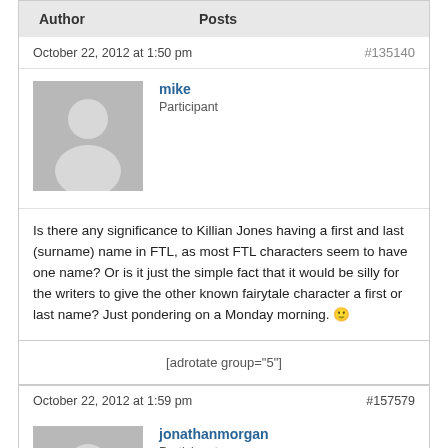| Author | Posts |
| --- | --- |
October 22, 2012 at 1:50 pm
#135140
[Figure (illustration): Grey avatar silhouette for user mike]
mike
Participant
Is there any significance to Killian Jones having a first and last (surname) name in FTL, as most FTL characters seem to have one name? Or is it just the simple fact that it would be silly for the writers to give the other known fairytale character a first or last name? Just pondering on a Monday morning. 🙂
[adrotate group="5"]
October 22, 2012 at 1:59 pm
#157579
[Figure (illustration): Grey avatar silhouette for user jonathanmorgan]
jonathanmorgan
Participant